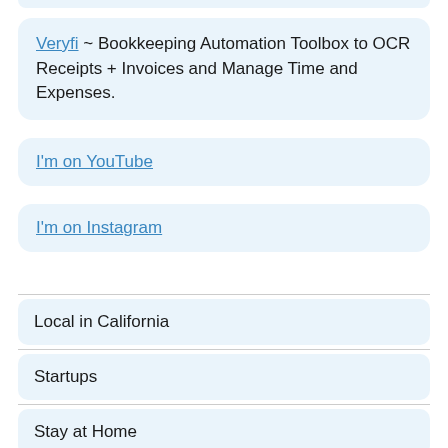Veryfi ~ Bookkeeping Automation Toolbox to OCR Receipts + Invoices and Manage Time and Expenses.
I'm on YouTube
I'm on Instagram
Local in California
Startups
Stay at Home